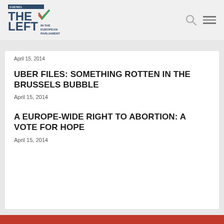[Figure (logo): The Left in the European Parliament logo with checkmark in red and green]
April 15, 2014
UBER FILES: SOMETHING ROTTEN IN THE BRUSSELS BUBBLE
April 15, 2014
A EUROPE-WIDE RIGHT TO ABORTION: A VOTE FOR HOPE
April 15, 2014